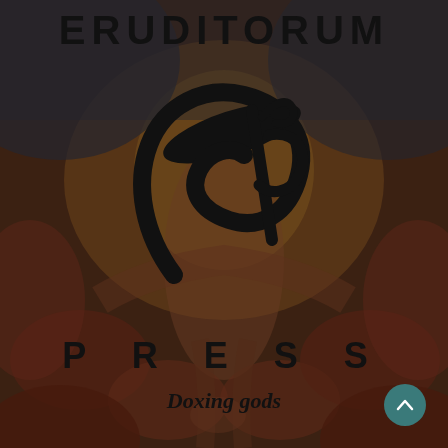[Figure (illustration): Background artwork showing a classical figure with outstretched arms, rendered in earthy reddish-brown tones with dark overlay, in the style of William Blake]
ERUDITORUM
[Figure (logo): Eruditorum Press stylized EP cursive logo in black]
PRESS
Doxing gods